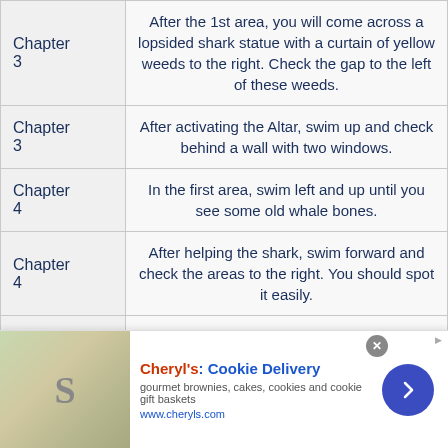| Chapter | Description |
| --- | --- |
| Chapter 3 | After the 1st area, you will come across a lopsided shark statue with a curtain of yellow weeds to the right. Check the gap to the left of these weeds. |
| Chapter 3 | After activating the Altar, swim up and check behind a wall with two windows. |
| Chapter 4 | In the first area, swim left and up until you see some old whale bones. |
| Chapter 4 | After helping the shark, swim forward and check the areas to the right. You should spot it easily. |
| Chapter | Before activating the Altar, swim down to find... |
[Figure (infographic): Advertisement banner for Cheryl's Cookie Delivery — gourmet brownies, cakes, cookies and cookie gift baskets. www.cheryls.com. With a right-arrow navigation button.]